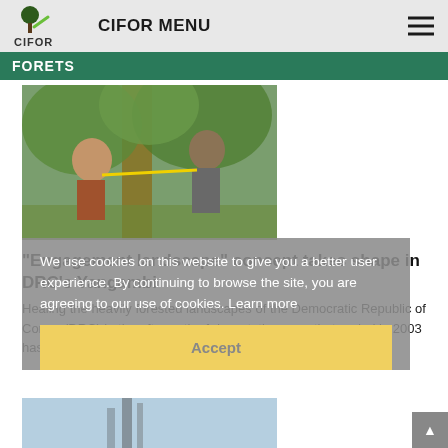CIFOR MENU
FORETS
[Figure (photo): Two men measuring a tree trunk with a yellow measuring tape in a forest]
“Engagement landscape” concept takes shape in DRC’s Yangambi
Healing the heavily forested landscapes of the Democratic Republic of Congo (DRC) in the aftermath of devastating wars that ended in 2003 has been a slow process, just one of…
We use cookies on this website to give you a better user experience. By continuing to browse the site, you are agreeing to our use of cookies. Learn more
Accept
[Figure (photo): Partial view of a building or tall structure, bottom of page]